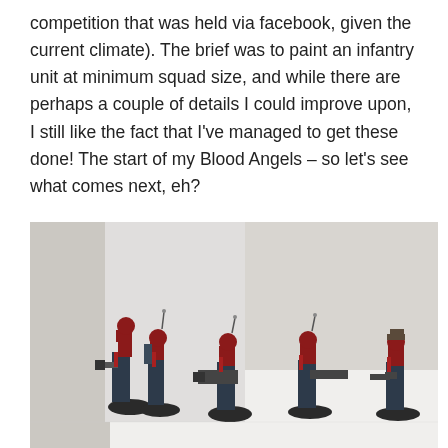competition that was held via facebook, given the current climate). The brief was to paint an infantry unit at minimum squad size, and while there are perhaps a couple of details I could improve upon, I still like the fact that I've managed to get these done! The start of my Blood Angels – so let's see what comes next, eh?
[Figure (photo): Five painted Warhammer 40K Blood Angels infantry miniatures posed on a white surface. The figures are in red and dark blue armor, each on a black circular base, holding various weapons. Background is a light grey/white.]